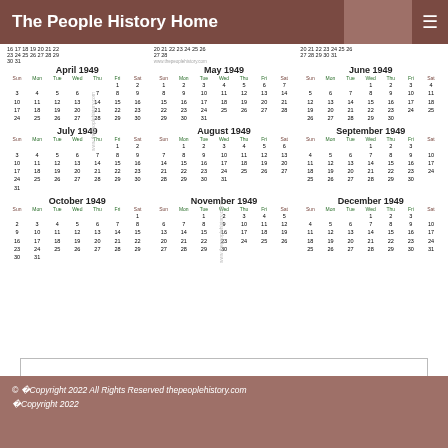The People History Home
[Figure (other): 1949 calendar showing months April through December 1949 in a 3-column grid layout with day-of-week headers and date numbers]
© �Copyright 2022 All Rights Reserved thepeoplehistory.com �Copyright 2022